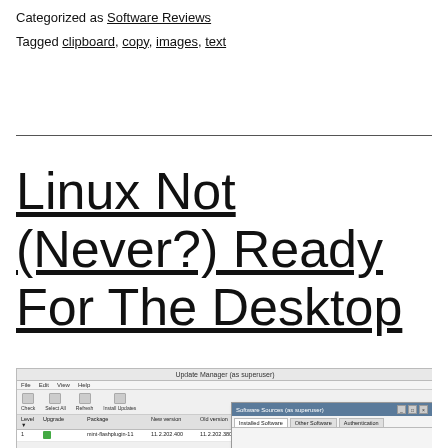Categorized as Software Reviews
Tagged clipboard, copy, images, text
Linux Not (Never?) Ready For The Desktop
[Figure (screenshot): Screenshot of a Linux software package manager or update manager application window, with a secondary 'Software Sources' dialog box overlay showing tabs: Installed Software, Other Software, Authentication.]